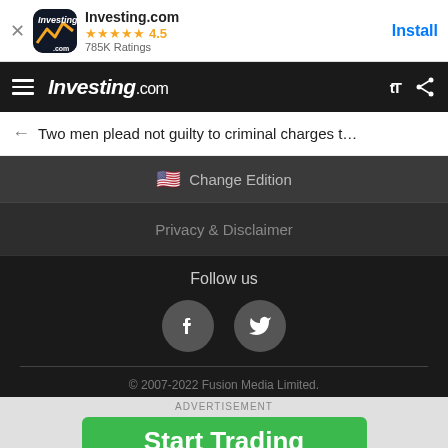[Figure (screenshot): Investing.com app banner with icon, 4.5 star rating, 785K Ratings, and Install button]
Investing.com
Two men plead not guilty to criminal charges t…
Change Edition
Privacy & Disclaimer
Follow us
[Figure (illustration): Facebook and Twitter social media icon circles]
© 2007-2022 Fusion Media Limited.
ADVERTISEMENT
[Figure (infographic): Green Start Trading button advertisement with AD label]